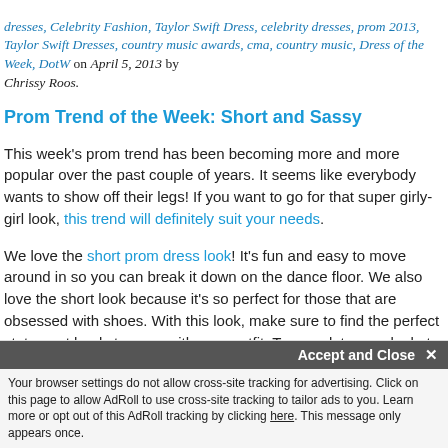dresses, Celebrity Fashion, Taylor Swift Dress, celebrity dresses, prom 2013, Taylor Swift Dresses, country music awards, cma, country music, Dress of the Week, DotW on April 5, 2013 by Chrissy Roos.
Prom Trend of the Week: Short and Sassy
This week's prom trend has been becoming more and more popular over the past couple of years. It seems like everybody wants to show off their legs! If you want to go for that super girly-girl look, this trend will definitely suit your needs.
We love the short prom dress look! It's fun and easy to move around in so you can break it down on the dance floor. We also love the short look because it's so perfect for those that are obsessed with shoes. With this look, make sure to find the perfect statement heels to wear with your outfit. To complete your look, try moisturizing your lovely stems with some shimmery liquid bronzing lotion!
Our favorite short little numbers are below, but there's definitely a few more out there this summer. If you...
Accept and Close ✕
Your browser settings do not allow cross-site tracking for advertising. Click on this page to allow AdRoll to use cross-site tracking to tailor ads to you. Learn more or opt out of this AdRoll tracking by clicking here. This message only appears once.